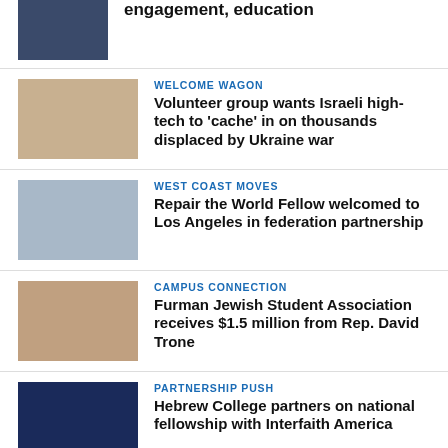[Figure (photo): Small thumbnail photo, dark blue tones, top of page]
engagement, education
[Figure (photo): People seated around tables at an event]
WELCOME WAGON
Volunteer group wants Israeli high-tech to ‘cache’ in on thousands displaced by Ukraine war
[Figure (photo): Outdoor gathering with chairs and trees]
WEST COAST MOVES
Repair the World Fellow welcomed to Los Angeles in federation partnership
[Figure (photo): People gathered indoors, possibly at a ceremony]
CAMPUS CONNECTION
Furman Jewish Student Association receives $1.5 million from Rep. David Trone
[Figure (photo): Illustrated night scene with figures around a table]
PARTNERSHIP PUSH
Hebrew College partners on national fellowship with Interfaith America